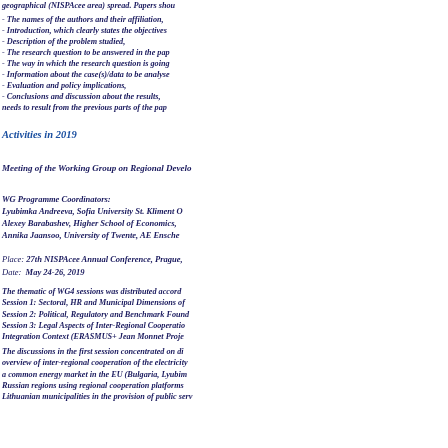geographical (NISPAcee area) spread. Papers shou...
- The names of the authors and their affiliation,
- Introduction, which clearly states the objectives...
- Description of the problem studied,
- The research question to be answered in the pa...
- The way in which the research question is going...
- Information about the case(s)/data to be analyse...
- Evaluation and policy implications,
- Conclusions and discussion about the results, ... needs to result from the previous parts of the pap...
Activities in 2019
Meeting of the Working Group on Regional Develo...
WG Programme Coordinators:
Lyubimka Andreeva, Sofia University St. Kliment O...
Alexey Barabashev, Higher School of Economics,...
Annika Jaansoo, University of Twente, AE Ensche...
Place: 27th NISPAcee Annual Conference, Prague,...
Date: May 24-26, 2019
The thematic of WG4 sessions was distributed accor...
Session 1: Sectoral, HR and Municipal Dimensions of...
Session 2: Political, Regulatory and Benchmark Found...
Session 3: Legal Aspects of Inter-Regional Cooperatio... Integration Context (ERASMUS+ Jean Monnet Proje...
The discussions in the first session concentrated on di... overview of inter-regional cooperation of the electricity... a common energy market in the EU (Bulgaria, Lyubim... Russian regions using regional cooperation platforms... Lithuanian municipalities in the provision of public serv...